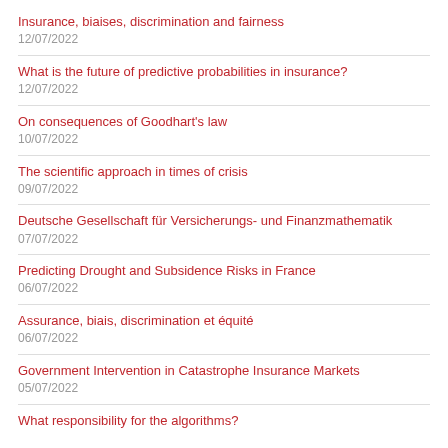Insurance, biaises, discrimination and fairness
12/07/2022
What is the future of predictive probabilities in insurance?
12/07/2022
On consequences of Goodhart's law
10/07/2022
The scientific approach in times of crisis
09/07/2022
Deutsche Gesellschaft für Versicherungs- und Finanzmathematik
07/07/2022
Predicting Drought and Subsidence Risks in France
06/07/2022
Assurance, biais, discrimination et équité
06/07/2022
Government Intervention in Catastrophe Insurance Markets
05/07/2022
What responsibility for the algorithms?